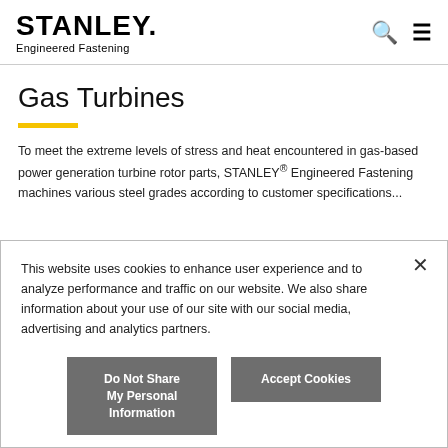STANLEY. Engineered Fastening
Gas Turbines
To meet the extreme levels of stress and heat encountered in gas-based power generation turbine rotor parts, STANLEY® Engineered Fastening machines various steel grades according to customer specifications...
This website uses cookies to enhance user experience and to analyze performance and traffic on our website. We also share information about your use of our site with our social media, advertising and analytics partners.
Do Not Share My Personal Information
Accept Cookies